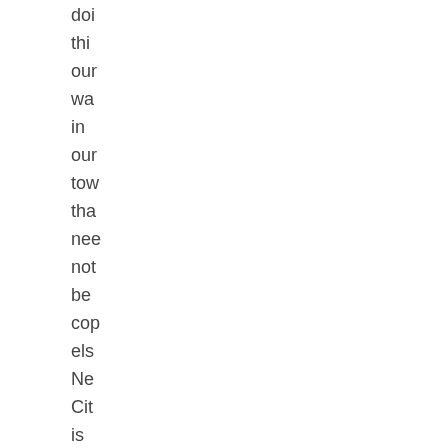doi thi our wa in our tow tha nee not be cop els Ne Cit is a pri exa of wh peo hav